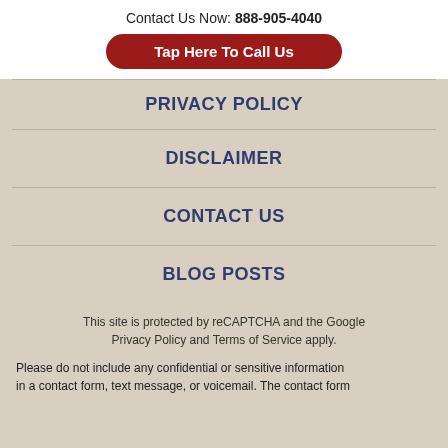Contact Us Now: 888-905-4040
Tap Here To Call Us
PRIVACY POLICY
DISCLAIMER
CONTACT US
BLOG POSTS
This site is protected by reCAPTCHA and the Google Privacy Policy and Terms of Service apply.
Please do not include any confidential or sensitive information in a contact form, text message, or voicemail. The contact form